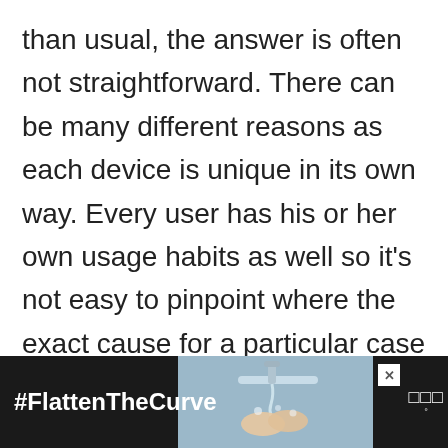than usual, the answer is often not straightforward. There can be many different reasons as each device is unique in its own way. Every user has his or her own usage habits as well so it's not easy to pinpoint where the exact cause for a particular case lies.  There are many factors to consider when dealing with battery drain or poor battery life on the Galaxy S8 Plus so we're better
[Figure (other): Advertisement banner at bottom of page showing #FlattenTheCurve text with image of hands washing at a sink, close button, and CNN logo]